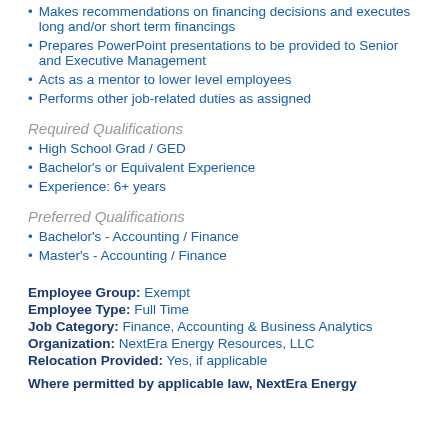Makes recommendations on financing decisions and executes long and/or short term financings
Prepares PowerPoint presentations to be provided to Senior and Executive Management
Acts as a mentor to lower level employees
Performs other job-related duties as assigned
Required Qualifications
High School Grad / GED
Bachelor's or Equivalent Experience
Experience: 6+ years
Preferred Qualifications
Bachelor's - Accounting / Finance
Master's - Accounting / Finance
Employee Group:  Exempt
Employee Type:  Full Time
Job Category:  Finance, Accounting & Business Analytics
Organization:  NextEra Energy Resources, LLC
Relocation Provided:  Yes, if applicable
Where permitted by applicable law, NextEra Energy